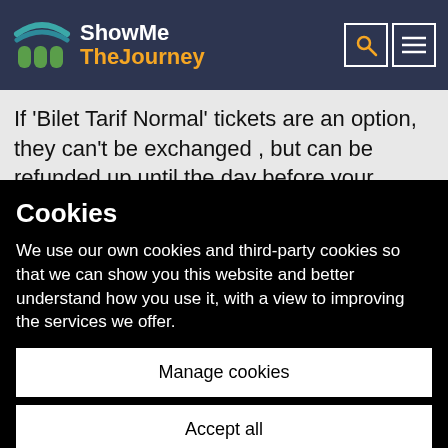[Figure (logo): ShowMe TheJourney logo with teal/orange icon and text]
If 'Bilet Tarif Normal' tickets are an option, they can't be exchanged , but can be refunded up until the day before your booked travel
Cookies
We use our own cookies and third-party cookies so that we can show you this website and better understand how you use it, with a view to improving the services we offer.
Manage cookies
Accept all